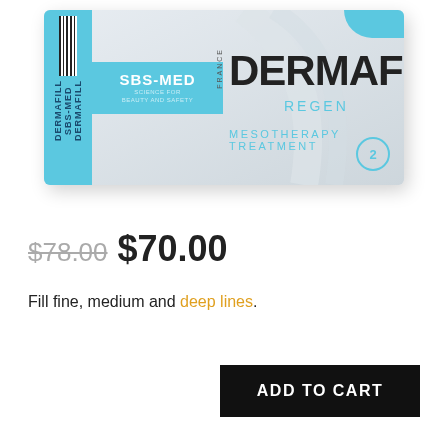[Figure (photo): Product box of Dermafill Regen Mesotherapy Treatment by SBS-MED, France. White and light blue box with barcode on left side.]
$78.00 $70.00
Fill fine, medium and deep lines.
- 1 +
ADD TO CART